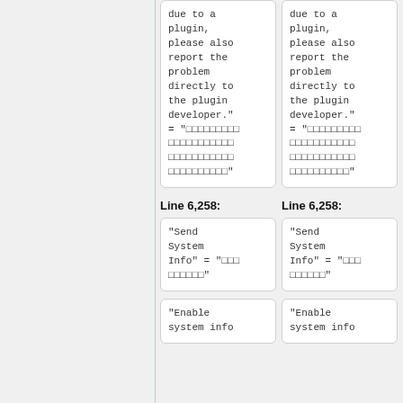due to a plugin, please also report the problem directly to the plugin developer."
= "□□□□□□□□□□□□□□□□□□□□□□□□□□□□□□□□□□□□□□□□□"
due to a plugin, please also report the problem directly to the plugin developer."
= "□□□□□□□□□□□□□□□□□□□□□□□□□□□□□□□□□□□□□□□□□"
Line 6,258:
Line 6,258:
"Send System Info" = "□□□□□□□□□□"
"Send System Info" = "□□□□□□□□□□"
"Enable system info
"Enable system info